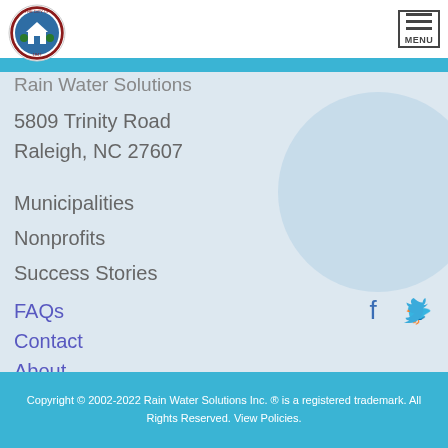[Figure (logo): City of Hendersonville circular seal/logo]
Rain Water Solutions
5809 Trinity Road
Raleigh, NC 27607
Municipalities
Nonprofits
Success Stories
FAQs
Contact
About
[Figure (illustration): Facebook and Twitter social media icons]
Copyright © 2002-2022 Rain Water Solutions Inc. ® is a registered trademark. All Rights Reserved. View Policies.